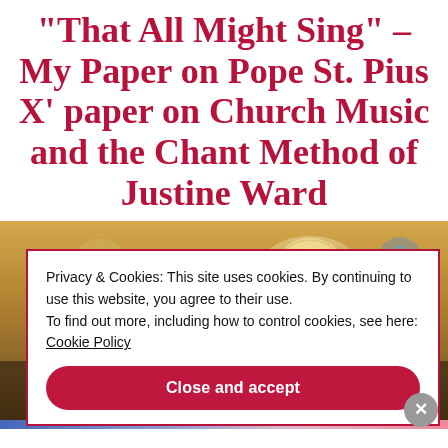“That All Might Sing” – My Paper on Pope St. Pius X’ paper on Church Music and the Chant Method of Justine Ward
[Figure (photo): Interior of a church with golden lighting, stained glass windows visible in the upper portion]
Privacy & Cookies: This site uses cookies. By continuing to use this website, you agree to their use. To find out more, including how to control cookies, see here: Cookie Policy
Close and accept